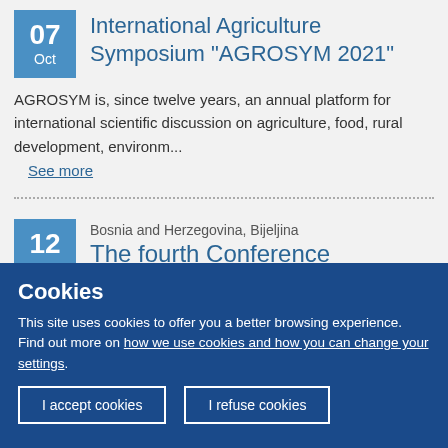International Agriculture Symposium "AGROSYM 2021"
AGROSYM is, since twelve years, an annual platform for international scientific discussion on agriculture, food, rural development, environm...
See more
The fourth Conference of Women
Bosnia and Herzegovina, Bijeljina
Cookies
This site uses cookies to offer you a better browsing experience. Find out more on how we use cookies and how you can change your settings.
I accept cookies
I refuse cookies